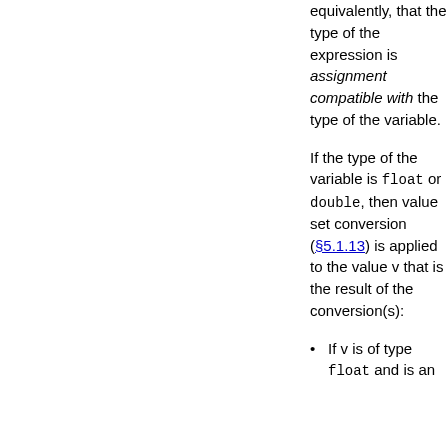equivalently, that the type of the expression is assignment compatible with the type of the variable.
If the type of the variable is float or double, then value set conversion (§5.1.13) is applied to the value v that is the result of the conversion(s):
If v is of type float and is an